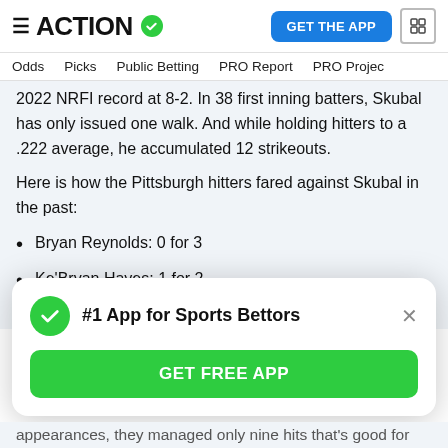ACTION — GET THE APP
Odds  Picks  Public Betting  PRO Report  PRO Projec
2022 NRFI record at 8-2. In 38 first inning batters, Skubal has only issued one walk. And while holding hitters to a .222 average, he accumulated 12 strikeouts.
Here is how the Pittsburgh hitters fared against Skubal in the past:
Bryan Reynolds: 0 for 3
Ke'Bryan Hayes: 1 for 2
#1 App for Sports Bettors
GET FREE APP
appearances, they managed only nine hits that's good for